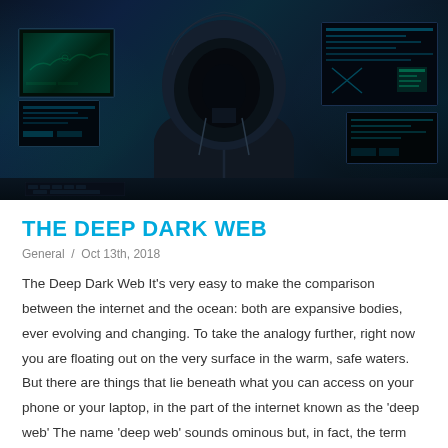[Figure (photo): A hooded figure in a dark hoodie sitting in front of multiple computer monitors glowing with blue-green light, suggesting a hacker or dark web user. The scene is very dark with cyan/teal screen glow.]
THE DEEP DARK WEB
General / Oct 13th, 2018
The Deep Dark Web It's very easy to make the comparison between the internet and the ocean: both are expansive bodies, ever evolving and changing. To take the analogy further, right now you are floating out on the very surface in the warm, safe waters. But there are things that lie beneath what you can access on your phone or your laptop, in the part of the internet known as the 'deep web' The name 'deep web' sounds ominous but, in fact, the term simply refers to sites and pages that cannot be accessed by traditional